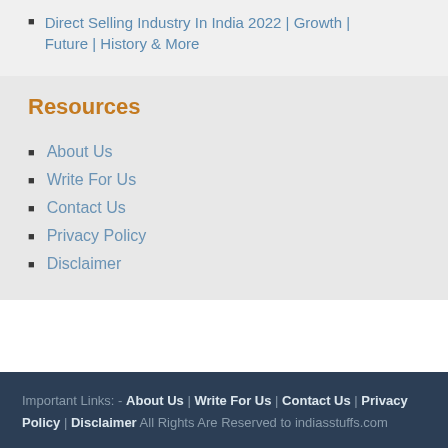Direct Selling Industry In India 2022 | Growth | Future | History & More
Resources
About Us
Write For Us
Contact Us
Privacy Policy
Disclaimer
Important Links: - About Us | Write For Us | Contact Us | Privacy Policy | Disclaimer All Rights Are Reserved to indiasstuffs.com